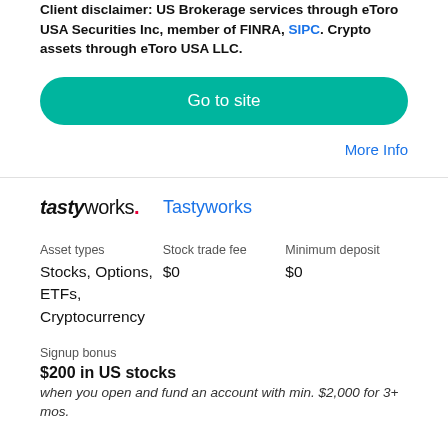Client disclaimer: US Brokerage services through eToro USA Securities Inc, member of FINRA, SIPC. Crypto assets through eToro USA LLC.
[Figure (other): Green 'Go to site' call-to-action button]
More Info
[Figure (logo): Tastyworks logo]
Tastyworks
| Asset types | Stock trade fee | Minimum deposit |
| --- | --- | --- |
| Stocks, Options, ETFs, Cryptocurrency | $0 | $0 |
Signup bonus
$200 in US stocks
when you open and fund an account with min. $2,000 for 3+ mos.